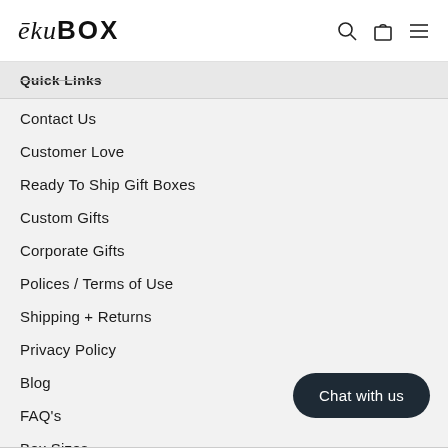ēkuBOX
Quick Links
Contact Us
Customer Love
Ready To Ship Gift Boxes
Custom Gifts
Corporate Gifts
Polices / Terms of Use
Shipping + Returns
Privacy Policy
Blog
FAQ's
Box Sizes
My account
Chat with us